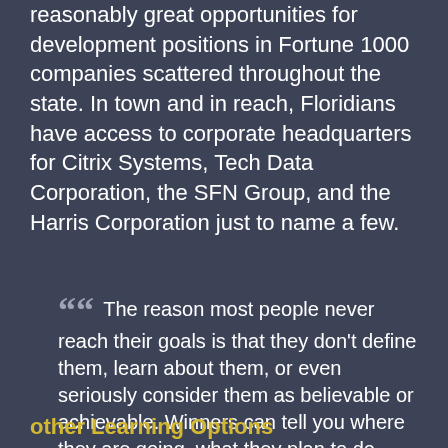reasonably great opportunities for development positions in Fortune 1000 companies scattered throughout the state. In town and in reach, Floridians have access to corporate headquarters for Citrix Systems, Tech Data Corporation, the SFN Group, and the Harris Corporation just to name a few.
“ The reason most people never reach their goals is that they don’t define them, learn about them, or even seriously consider them as believable or achievable. Winners can tell you where they are going, what they plan to do along the way, and who will be sharing the adventure with them. Denis Waitley”
other Learning Options